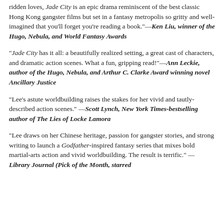ridden loves, Jade City is an epic drama reminiscent of the best classic Hong Kong gangster films but set in a fantasy metropolis so gritty and well-imagined that you'll forget you're reading a book."—Ken Liu, winner of the Hugo, Nebula, and World Fantasy Awards
"Jade City has it all: a beautifully realized setting, a great cast of characters, and dramatic action scenes. What a fun, gripping read!"—Ann Leckie, author of the Hugo, Nebula, and Arthur C. Clarke Award winning novel Ancillary Justice
"Lee's astute worldbuilding raises the stakes for her vivid and tautly-described action scenes." —Scott Lynch, New York Times-bestselling author of The Lies of Locke Lamora
"Lee draws on her Chinese heritage, passion for gangster stories, and strong writing to launch a Godfather-inspired fantasy series that mixes bold martial-arts action and vivid worldbuilding. The result is terrific." — Library Journal (Pick of the Month, starred